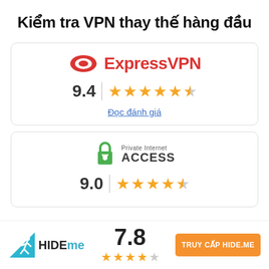Kiểm tra VPN thay thế hàng đầu
[Figure (logo): ExpressVPN logo with red shield icon and red text 'ExpressVPN', rating 9.4 with 4.5 stars and link 'Đọc đánh giá']
[Figure (logo): Private Internet Access logo with green padlock icon, rating 9.0 with 4.5 stars]
[Figure (logo): HideMe VPN logo with teal runner icon, score 7.8, 3.5 stars, orange button 'TRUY CẬP HIDE.ME']